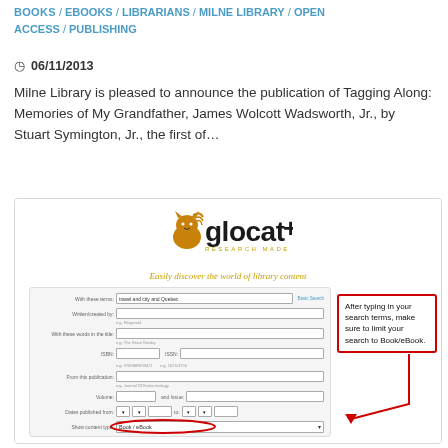BOOKS / EBOOKS / LIBRARIANS / MILNE LIBRARY / OPEN ACCESS / PUBLISHING
06/11/2013
Milne Library is pleased to announce the publication of Tagging Along: Memories of My Grandfather, James Wolcott Wadsworth, Jr., by Stuart Symington, Jr., the first of…
[Figure (screenshot): Screenshot of the glocat+ library search interface showing a search for 'travel and city and Quebec' with the content type set to Book/eBook, highlighted with a red oval. A red callout box on the right reads: 'After typing in your search terms, make sure to limit your search to Book/eBook.']